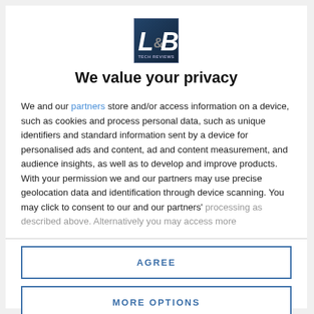[Figure (logo): L&B Tech Reviews logo — dark blue square with stylized L&B letters and 'TECH REVIEWS' text]
We value your privacy
We and our partners store and/or access information on a device, such as cookies and process personal data, such as unique identifiers and standard information sent by a device for personalised ads and content, ad and content measurement, and audience insights, as well as to develop and improve products. With your permission we and our partners may use precise geolocation data and identification through device scanning. You may click to consent to our and our partners' processing as described above. Alternatively you may access more
AGREE
MORE OPTIONS